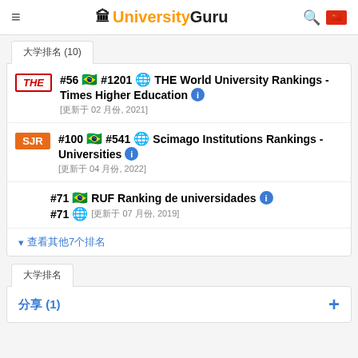UniversityGuru
#56 🇧🇷 #1201 🌐 THE World University Rankings - Times Higher Education ℹ [更新于 02 月份, 2021]
#100 🇧🇷 #541 🌐 Scimago Institutions Rankings - Universities ℹ [更新于 04 月份, 2022]
#71 🇧🇷 #71 🌐 RUF Ranking de universidades ℹ [更新于 07 月份, 2019]
▾ 查看其他7个排名
大学排名
分享 (1)